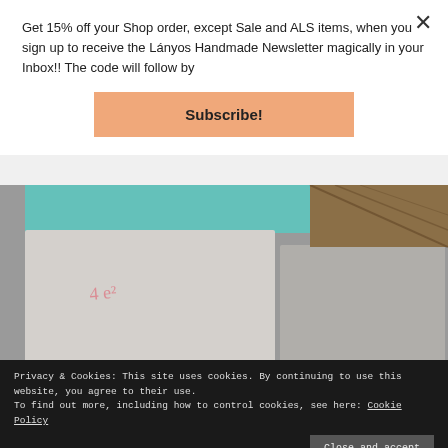Get 15% off your Shop order, except Sale and ALS items, when you sign up to receive the Lányos Handmade Newsletter magically in your Inbox!! The code will follow by
Subscribe!
[Figure (photo): Photo of fabric/sewing materials on a table with text overlay reading 'Nice dress! Thanks, I made it!!']
Privacy & Cookies: This site uses cookies. By continuing to use this website, you agree to their use. To find out more, including how to control cookies, see here: Cookie Policy
Close and accept
many seams to sew but they would all have to be french